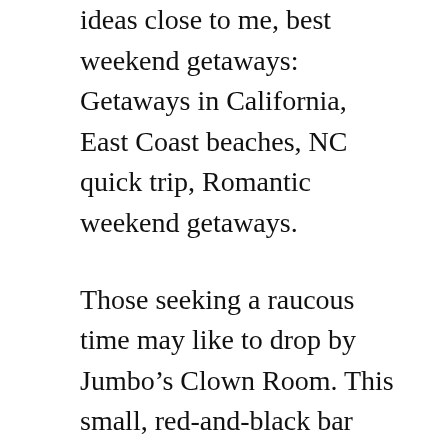ideas close to me, best weekend getaways: Getaways in California, East Coast beaches, NC quick trip, Romantic weekend getaways.
Those seeking a raucous time may like to drop by Jumbo's Clown Room. This small, red-and-black bar has been around since the ’70s and has become something of a Los Angeles institution. These days, it’s famous as a bikini bar, with talented dancers and contortionists conquering the stage nightly. Performers choose songs on an old jukebox, with song selections including metal, ’90s alt-rock, and ’70s and ’80s throwbacks. Guests may not take pictures, and tips for dancers are expected. It’s hard to explain what the Museum of Jurassic